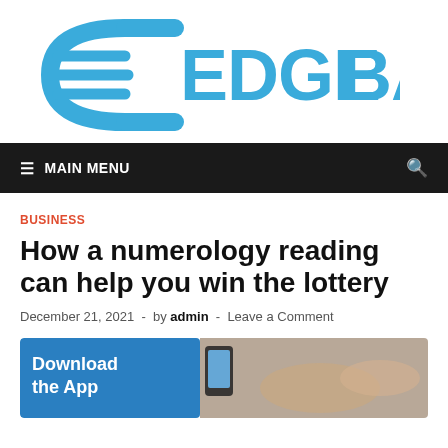[Figure (logo): Edge Barney logo with stylized C-shape and horizontal lines in blue, with text EDGE BARNEY in blue]
≡  MAIN MENU
BUSINESS
How a numerology reading can help you win the lottery
December 21, 2021  -  by admin  -  Leave a Comment
[Figure (screenshot): Mobile app advertisement image with blue background on left reading 'Download the App' and a smartphone and hands on the right side]